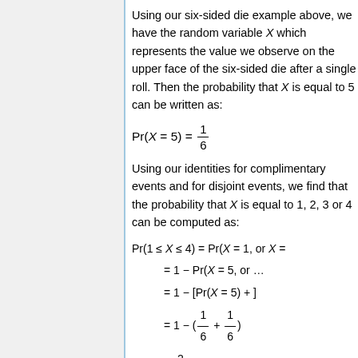Using our six-sided die example above, we have the random variable X which represents the value we observe on the upper face of the six-sided die after a single roll. Then the probability that X is equal to 5 can be written as:
Using our identities for complimentary events and for disjoint events, we find that the probability that X is equal to 1, 2, 3 or 4 can be computed as:
Notice that if f(X) is the...